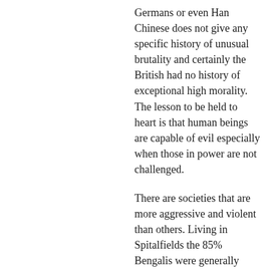Germans or even Han Chinese does not give any specific history of unusual brutality and certainly the British had no history of exceptional high morality. The lesson to be held to heart is that human beings are capable of evil especially when those in power are not challenged.
There are societies that are more aggressive and violent than others. Living in Spitalfields the 85% Bengalis were generally peaceful whereas the 10% Somalis